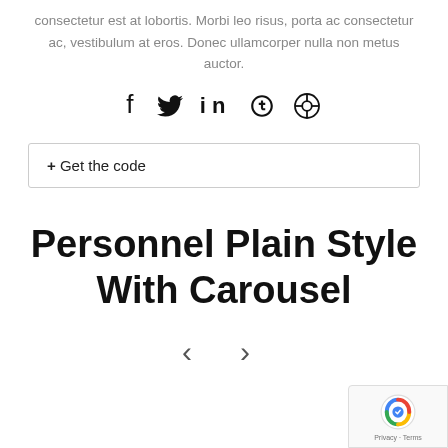consectetur est at lobortis. Morbi leo risus, porta ac consectetur ac, vestibulum at eros. Donec ullamcorper nulla non metus auctor.
[Figure (other): Social media icons: Facebook, Twitter, LinkedIn, Skype, Dribbble]
+ Get the code
Personnel Plain Style With Carousel
[Figure (other): Carousel navigation arrows: left and right chevrons]
[Figure (other): reCAPTCHA badge with Google logo, Privacy and Terms links]